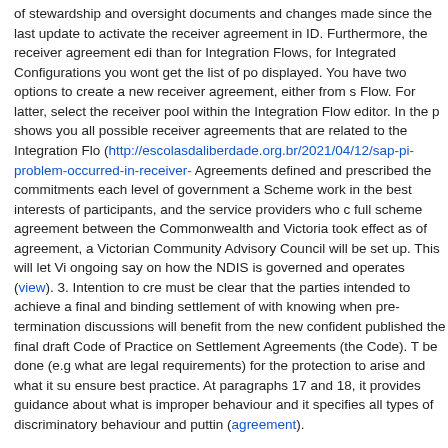of stewardship and oversight documents and changes made since the last update to activate the receiver agreement in ID. Furthermore, the receiver agreement edi than for Integration Flows, for Integrated Configurations you wont get the list of po displayed. You have two options to create a new receiver agreement, either from s Flow. For latter, select the receiver pool within the Integration Flow editor. In the p shows you all possible receiver agreements that are related to the Integration Flo (http://escolasdaliberdade.org.br/2021/04/12/sap-pi-problem-occurred-in-receiver- Agreements defined and prescribed the commitments each level of government a Scheme work in the best interests of participants, and the service providers who c full scheme agreement between the Commonwealth and Victoria took effect as of agreement, a Victorian Community Advisory Council will be set up. This will let Vi ongoing say on how the NDIS is governed and operates (view). 3. Intention to cre must be clear that the parties intended to achieve a final and binding settlement of with knowing when pre-termination discussions will benefit from the new confident published the final draft Code of Practice on Settlement Agreements (the Code). T be done (e.g what are legal requirements) for the protection to arise and what it su ensure best practice. At paragraphs 17 and 18, it provides guidance about what is improper behaviour and it specifies all types of discriminatory behaviour and puttin (agreement).
In case the loan offered under normal customer category by any bank/institution, a annum is charged for outstanding loan amount. As per the MOU, the bank shall no for prepayment or foreclosure of loans (Personal/Car) in case BSNL employee pa